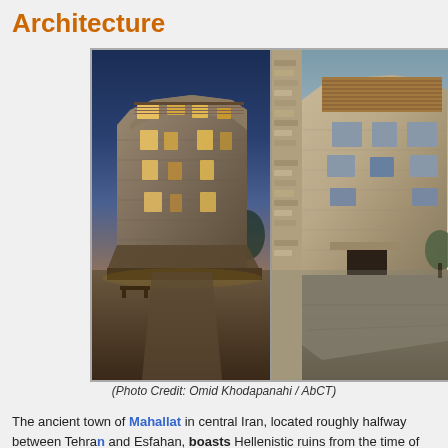Architecture
[Figure (photo): Two side-by-side architectural photographs of a stone/brick modernist building in Mahallat, Iran. Left photo shows the building at dusk/night with warm interior lighting. Right photo shows the building in daylight with stone texture visible. Photo Credit: Omid Khodapanahi / AbCT]
(Photo Credit: Omid Khodapanahi / AbCT)
The ancient town of Mahallat in central Iran, located roughly halfway between Tehran and Esfahan, boasts Hellenistic ruins from the time of Alexander the Great, Zoroastrian fi...